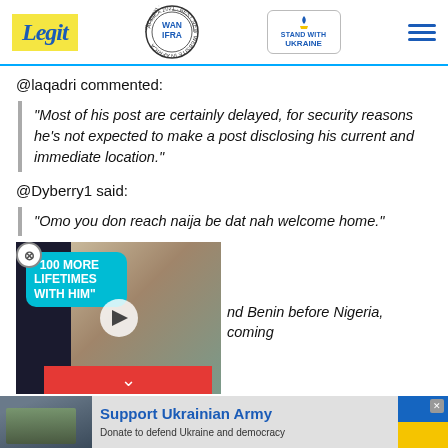Legit — Best News Website in Africa 2021 (WAN-IFRA) — Stand With Ukraine
@laqadri commented:
"Most of his post are certainly delayed, for security reasons he's not expected to make a post disclosing his current and immediate location."
@Dyberry1 said:
"Omo you don reach naija be dat nah welcome home."
nd Benin before Nigeria, coming
[Figure (screenshot): Video player thumbnail showing two people with '100 MORE LIFETIMES WITH HIM' speech bubble, play button overlay, and red chevron-down button.]
[Figure (screenshot): Ad banner: Support Ukrainian Army — Donate to defend Ukraine and democracy, with Ukrainian flag colors.]